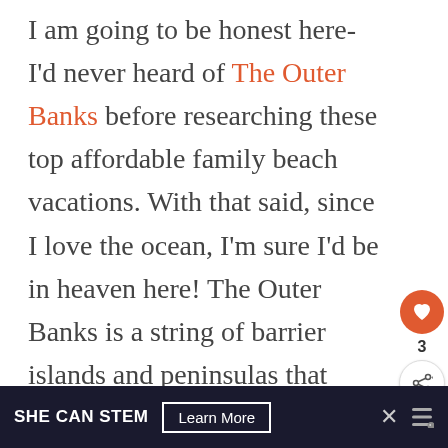I am going to be honest here- I'd never heard of The Outer Banks before researching these top affordable family beach vacations. With that said, since I love the ocean, I'm sure I'd be in heaven here! The Outer Banks is a string of barrier islands and peninsulas that stretch over most of the North Carolina coastline. The Outer Banks feature over
SHE CAN STEM  Learn More